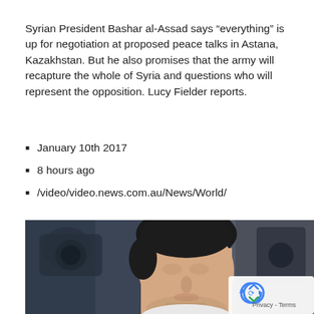Syrian President Bashar al-Assad says “everything” is up for negotiation at proposed peace talks in Astana, Kazakhstan. But he also promises that the army will recapture the whole of Syria and questions who will represent the opposition. Lucy Fielder reports.
January 10th 2017
8 hours ago
/video/video.news.com.au/News/World/
[Figure (photo): Close-up photograph of Syrian President Bashar al-Assad, a man with short dark hair, photographed against a blurred background with camera equipment visible.]